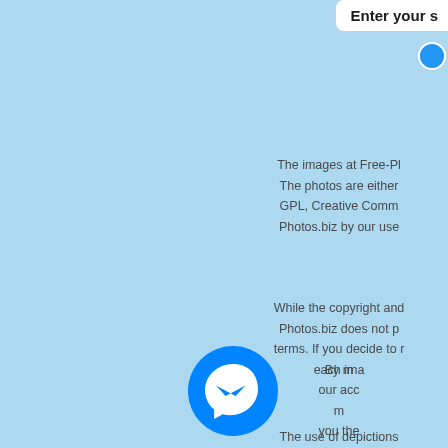Enter your s
The images at Free-Pl
The photos are either
GPL, Creative Comm
Photos.biz by our use
While the copyright and
Photos.biz does not p
terms. If you decide to r
each ima
The use of depictions
regarding personality r
[Figure (logo): Facebook Messenger circular blue icon with white lightning bolt messenger logo]
By m
our acc
m
you the